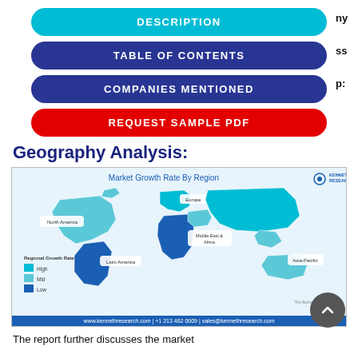DESCRIPTION
TABLE OF CONTENTS
COMPANIES MENTIONED
REQUEST SAMPLE PDF
Geography Analysis:
[Figure (map): World map showing Market Growth Rate By Region with regions colored by growth rate (High, Mid, Low). Regions labeled: North America, Europe, Middle East & Africa, Latin America, Asia-Pacific. Legend shows High (light teal), Mid (sky blue), Low (dark blue). Kenneth Research branding shown.]
The report further discusses the market